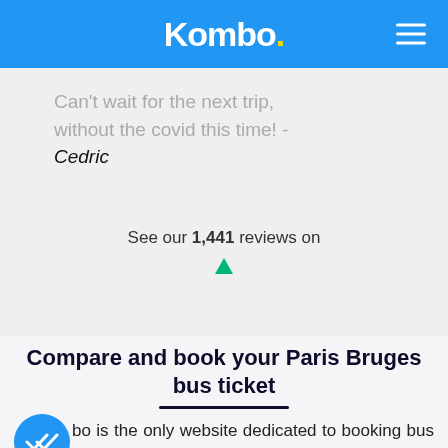Kombo.
Can't wait for the next trip, without the covid this time! - Cedric
See our 1,441 reviews on
Compare and book your Paris Bruges bus ticket
Kombo is the only website dedicated to booking bus tickets. Compare Paris - Bruges bus ticket